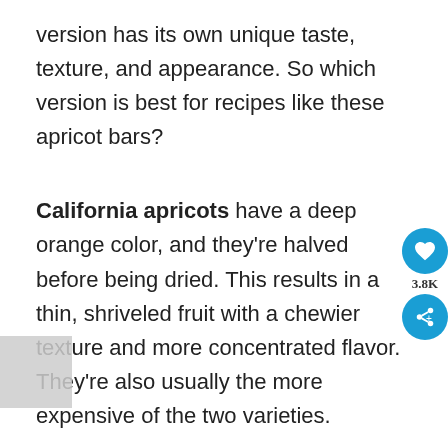version has its own unique taste, texture, and appearance. So which version is best for recipes like these apricot bars?
California apricots have a deep orange color, and they're halved before being dried. This results in a thin, shriveled fruit with a chewier texture and more concentrated flavor. They're also usually the more expensive of the two varieties.
Turkish apricots have more of a yellow-orange color. They're dried whole and then pitted, which retains more moisture and